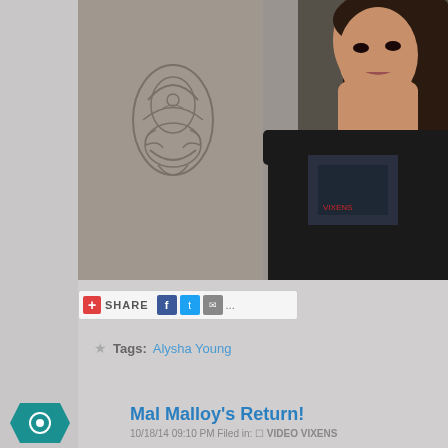[Figure (photo): A young woman with long dark hair wearing a black graphic t-shirt, standing against a decorative wallpaper background with a floral/damask pattern in grey tones]
[Figure (screenshot): Social share bar with red plus icon, SHARE text, Facebook icon, Twitter icon, email icon, and ellipsis]
★ Tags: Alysha Young
Mal Malloy's Return!
10/18/14 09:10 PM Filed in: VIDEO VIXENS